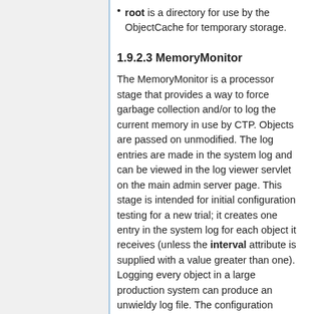root is a directory for use by the ObjectCache for temporary storage.
1.9.2.3 MemoryMonitor
The MemoryMonitor is a processor stage that provides a way to force garbage collection and/or to log the current memory in use by CTP. Objects are passed on unmodified. The log entries are made in the system log and can be viewed in the log viewer servlet on the main admin server page. This stage is intended for initial configuration testing for a new trial; it creates one entry in the system log for each object it receives (unless the interval attribute is supplied with a value greater than one). Logging every object in a large production system can produce an unwieldy log file. The configuration element for the MemoryMonitor is: